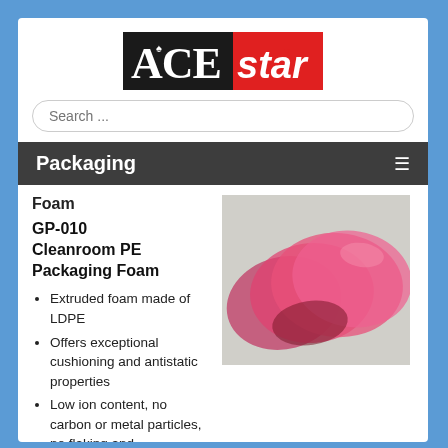[Figure (logo): ACE star logo — black rectangle with white serif ACE text and spade icon, red rectangle with white bold italic 'star' text]
Search ...
Packaging
Foam
GP-010 Cleanroom PE Packaging Foam
Extruded foam made of LDPE
Offers exceptional cushioning and antistatic properties
Low ion content, no carbon or metal particles, no flaking and noncorrosive. Foam convert in
[Figure (photo): Photo of translucent pink/red circular foam discs stacked slightly offset on a light grey background]